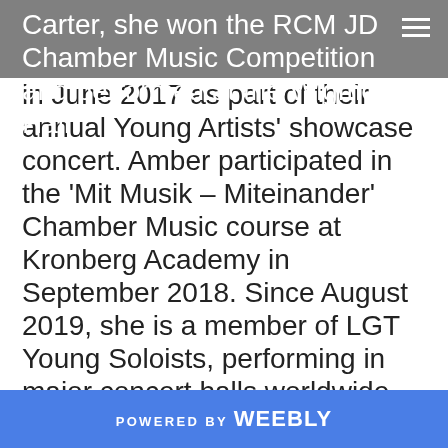Carter, she won the RCM JD Chamber Music Competition and performed at the Wigmore Hall
in June 2017 as part of their annual Young Artists' showcase concert. Amber participated in the 'Mit Musik – Miteinander' Chamber Music course at Kronberg Academy in September 2018. Since August 2019, she is a member of LGT Young Soloists, performing in major concert halls worldwide as a soloist as well as part of the group. Recent tours have taken her to Rheingau Musikfestival, Elbphilharmonie Hamburg, Berliner Philharmonie and Musikverein Wien, as well as a 2.5 weeks' tour to Asia (Hong Kong, Singapore, Bangkok, Jakarta) and a CD recording.
POWERED BY weebly